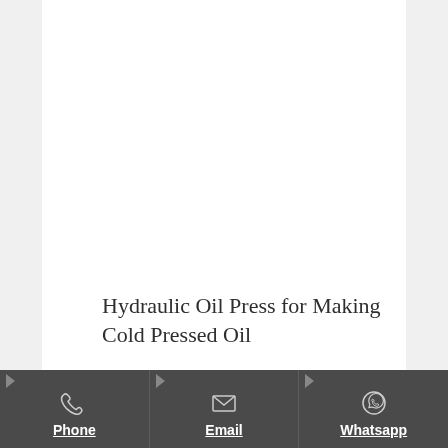Hydraulic Oil Press for Making Cold Pressed Oil
[Figure (other): White content/image area (product image area, mostly blank/white in this crop)]
Phone | Email | Whatsapp